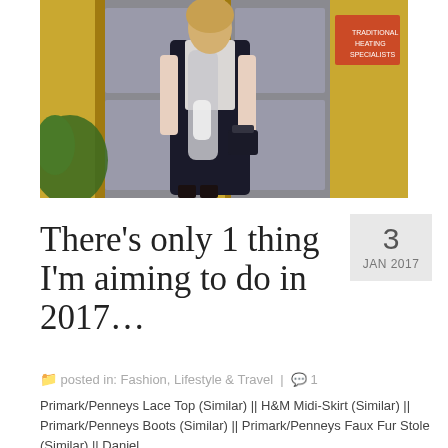[Figure (photo): Fashion blog photo of a blonde woman standing in front of yellow doors wearing a white lace top, black maxi skirt, faux fur stole, and carrying a black handbag]
There's only 1 thing I'm aiming to do in 2017…
3
JAN 2017
posted in: Fashion, Lifestyle & Travel  |  1
Primark/Penneys Lace Top (Similar) || H&M Midi-Skirt (Similar) || Primark/Penneys Boots (Similar) || Primark/Penneys Faux Fur Stole (Similar) || Daniel